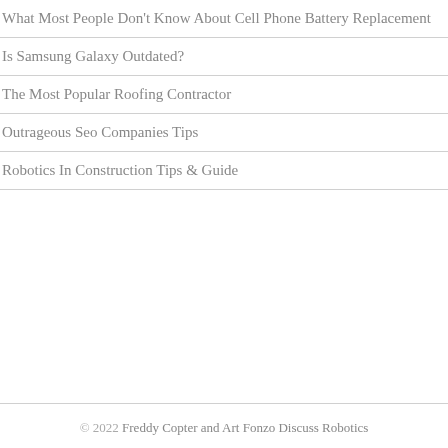What Most People Don't Know About Cell Phone Battery Replacement
Is Samsung Galaxy Outdated?
The Most Popular Roofing Contractor
Outrageous Seo Companies Tips
Robotics In Construction Tips & Guide
© 2022 Freddy Copter and Art Fonzo Discuss Robotics